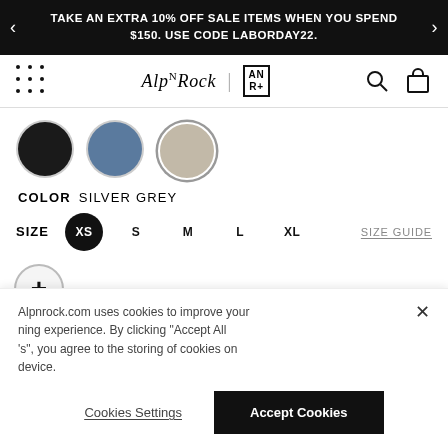TAKE AN EXTRA 10% OFF SALE ITEMS WHEN YOU SPEND $150. USE CODE LABORDAY22.
[Figure (logo): Alp N Rock navigation bar with menu dots, logo, AN R+ badge, search and bag icons]
COLOR  SILVER GREY
SIZE  XS  S  M  L  XL  SIZE GUIDE
Alpnrock.com uses cookies to improve your shopping experience. By clicking "Accept All Cookies", you agree to the storing of cookies on your device.
Cookies Settings   Accept Cookies